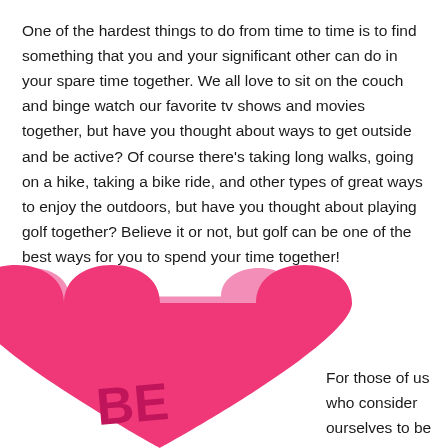One of the hardest things to do from time to time is to find something that you and your significant other can do in your spare time together. We all love to sit on the couch and binge watch our favorite tv shows and movies together, but have you thought about ways to get outside and be active? Of course there's taking long walks, going on a hike, taking a bike ride, and other types of great ways to enjoy the outdoors, but have you thought about playing golf together? Believe it or not, but golf can be one of the best ways for you to spend your time together!
[Figure (illustration): Two overlapping pink/hot-pink candy hearts, the front heart displaying the letters 'BE' in dark pink, partially cropped at the bottom of the page.]
For those of us who consider ourselves to be